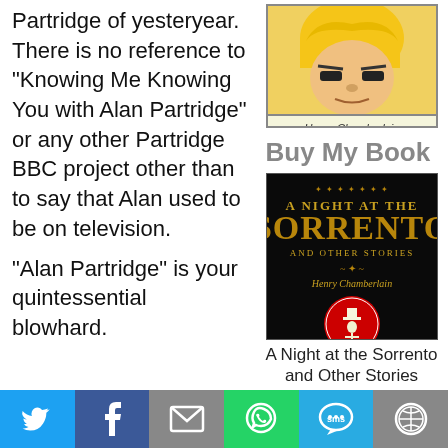Partridge of yesteryear. There is no reference to “Knowing Me Knowing You with Alan Partridge” or any other Partridge BBC project other than to say that Alan used to be on television.

“Alan Partridge” is your quintessential blowhard.
[Figure (illustration): Cartoon illustration of Henry Chamberlain with blond hair and narrowed eyes, with caption 'Henry Chamberlain' below]
Buy My Book
[Figure (illustration): Book cover of 'A Night at the Sorrento and Other Stories' by Henry Chamberlain — black background with ornate gold title text and a red circle with a top-hat figure]
A Night at the Sorrento and Other Stories
[Figure (infographic): Social share footer bar with icons for Twitter, Facebook, Email, WhatsApp, SMS, and More (sharing options)]